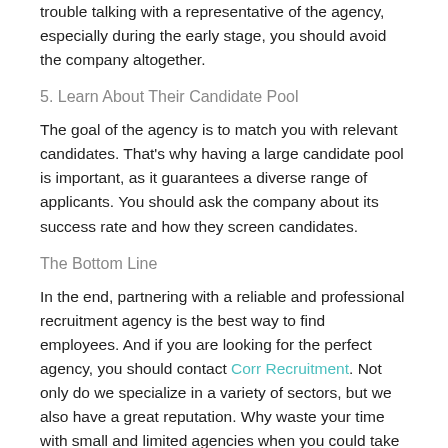trouble talking with a representative of the agency, especially during the early stage, you should avoid the company altogether.
5. Learn About Their Candidate Pool
The goal of the agency is to match you with relevant candidates. That's why having a large candidate pool is important, as it guarantees a diverse range of applicants. You should ask the company about its success rate and how they screen candidates.
The Bottom Line
In the end, partnering with a reliable and professional recruitment agency is the best way to find employees. And if you are looking for the perfect agency, you should contact Corr Recruitment. Not only do we specialize in a variety of sectors, but we also have a great reputation. Why waste your time with small and limited agencies when you could take advantage of our